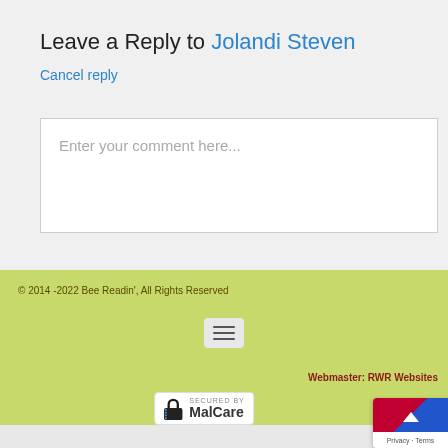Leave a Reply to Jolandi Steven
Cancel reply
Enter your comment here...
© 2014 -2022 Bee Readin', All Rights Reserved
Webmaster: RWR Websites
[Figure (logo): SECURED by MalCare security badge with padlock icon]
[Figure (other): Privacy card with up-arrow icon and Privacy - Terms label]